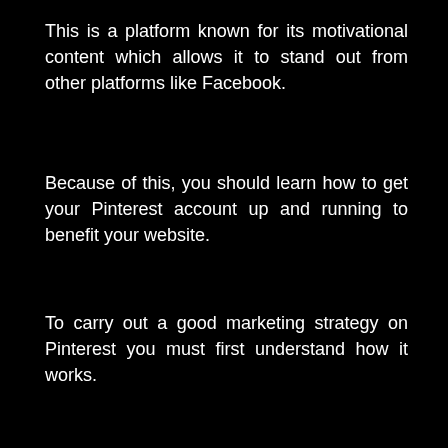This is a platform known for its motivational content which allows it to stand out from other platforms like Facebook.
Because of this, you should learn how to get your Pinterest account up and running to benefit your website.
To carry out a good marketing strategy on Pinterest you must first understand how it works.